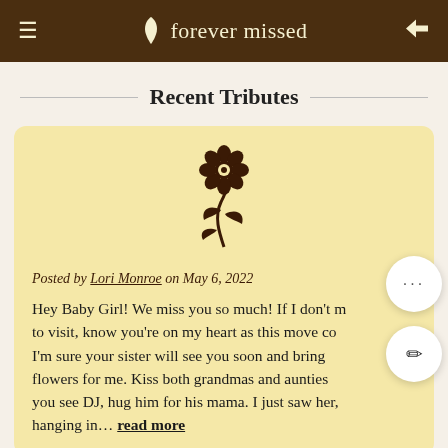forever missed
Recent Tributes
[Figure (illustration): Decorative dark brown flower with stem and leaves icon]
Posted by Lori Monroe on May 6, 2022
Hey Baby Girl! We miss you so much! If I don't m... to visit, know you're on my heart as this move co... I'm sure your sister will see you soon and bring flowers for me. Kiss both grandmas and aunties... you see DJ, hug him for his mama. I just saw her... hanging in… read more